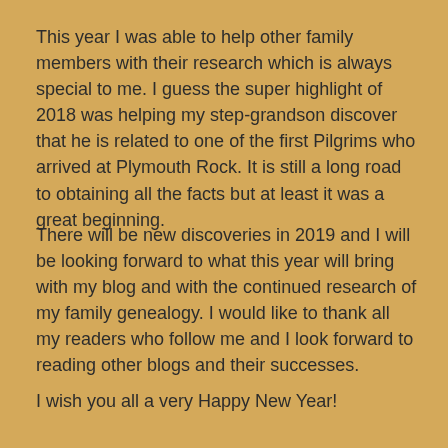This year I was able to help other family members with their research which is always special to me. I guess the super highlight of 2018 was helping my step-grandson discover that he is related to one of the first Pilgrims who arrived at Plymouth Rock. It is still a long road to obtaining all the facts but at least it was a great beginning.
There will be new discoveries in 2019 and I will be looking forward to what this year will bring with my blog and with the continued research of my family genealogy. I would like to thank all my readers who follow me and I look forward to reading other blogs and their successes.
I wish you all a very Happy New Year!